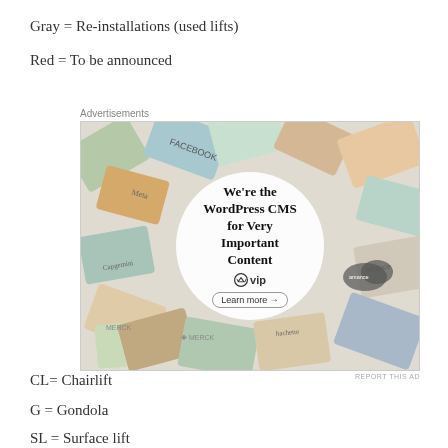Gray = Re-installations (used lifts)
Red = To be announced
[Figure (other): WordPress VIP advertisement banner showing colorful brand cards around a central white circle with text 'We're the WordPress CMS for Very Important Content' and a 'Learn more' button.]
CL= Chairlift
G = Gondola
SL = Surface lift